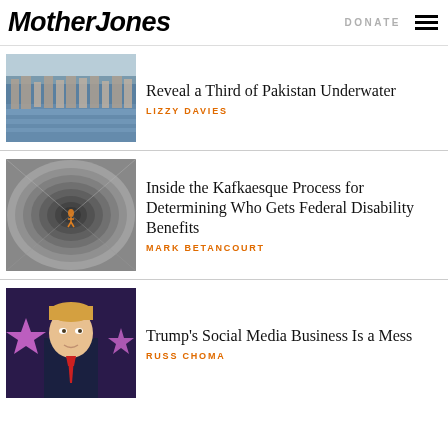Mother Jones | DONATE
[Figure (photo): Aerial view of flooded area with buildings partially submerged in water, Pakistan floods]
Reveal a Third of Pakistan Underwater
LIZZY DAVIES
[Figure (photo): Looking up from inside a tall concrete shaft or cylindrical structure with a small figure at the bottom]
Inside the Kafkaesque Process for Determining Who Gets Federal Disability Benefits
MARK BETANCOURT
[Figure (photo): Donald Trump standing at a podium with purple star decorations in background]
Trump's Social Media Business Is a Mess
RUSS CHOMA